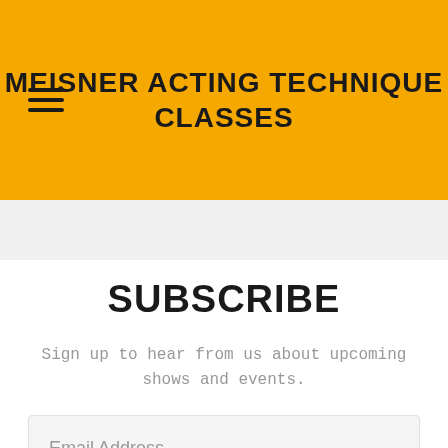MEISNER ACTING TECHNIQUE CLASSES
SUBSCRIBE
Sign up to hear from us about upcoming shows and events.
Email Address
SIGN UP